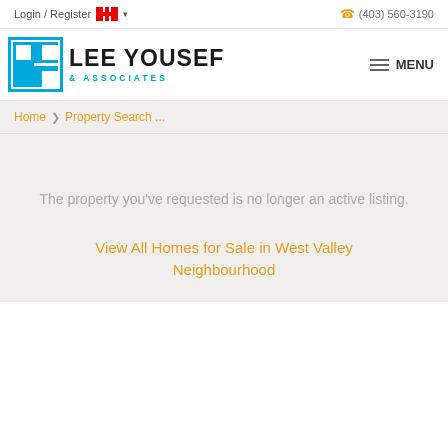Login / Register  (403) 560-3190
[Figure (logo): Lee Yousef & Associates real estate logo with blue LY icon and company name]
Home > Property Search ...
The property you've requested is no longer an active listing.
View All Homes for Sale in West Valley Neighbourhood